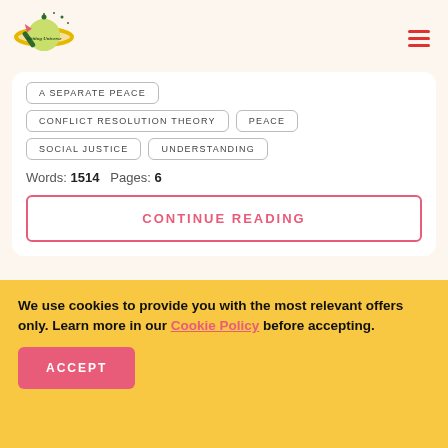[Figure (logo): Writing Universe logo — stylized planet with orbiting pencil and text]
A SEPARATE PEACE
CONFLICT RESOLUTION THEORY
PEACE
SOCIAL JUSTICE
UNDERSTANDING
Words: 1514   Pages: 6
CONTINUE READING
We use cookies to provide you with the most relevant offers only. Learn more in our Cookie Policy before accepting.
ACCEPT